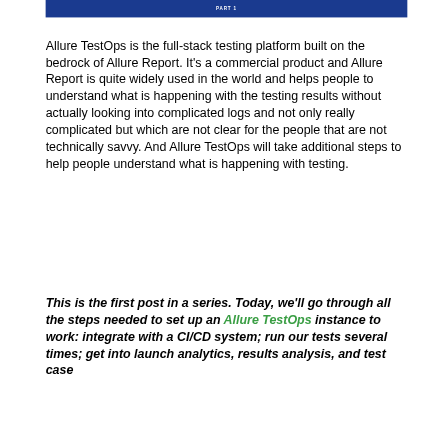PART 1
Allure TestOps is the full-stack testing platform built on the bedrock of Allure Report. It's a commercial product and Allure Report is quite widely used in the world and helps people to understand what is happening with the testing results without actually looking into complicated logs and not only really complicated but which are not clear for the people that are not technically savvy. And Allure TestOps will take additional steps to help people understand what is happening with testing.
This is the first post in a series. Today, we'll go through all the steps needed to set up an Allure TestOps instance to work: integrate with a CI/CD system; run our tests several times; get into launch analytics, results analysis, and test case